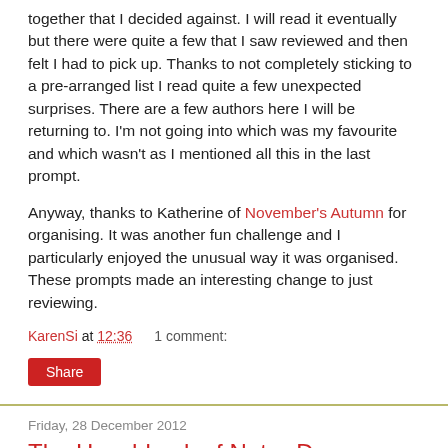together that I decided against. I will read it eventually but there were quite a few that I saw reviewed and then felt I had to pick up. Thanks to not completely sticking to a pre-arranged list I read quite a few unexpected surprises. There are a few authors here I will be returning to. I'm not going into which was my favourite and which wasn't as I mentioned all this in the last prompt.
Anyway, thanks to Katherine of November's Autumn for organising. It was another fun challenge and I particularly enjoyed the unusual way it was organised. These prompts made an interesting change to just reviewing.
KarenSi at 12:36    1 comment:
Share
Friday, 28 December 2012
The Hunchback of Notre-Dame Victor Hugo
[Figure (photo): Small thumbnail image of a book cover for The Hunchback of Notre-Dame]